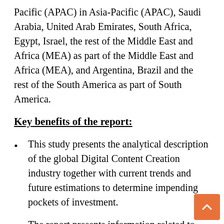Pacific (APAC) in Asia-Pacific (APAC), Saudi Arabia, United Arab Emirates, South Africa, Egypt, Israel, the rest of the Middle East and Africa (MEA) as part of the Middle East and Africa (MEA), and Argentina, Brazil and the rest of the South America as part of South America.
Key benefits of the report:
This study presents the analytical description of the global Digital Content Creation industry together with current trends and future estimations to determine impending pockets of investment.
The report presents information related to key drivers, restraints, and